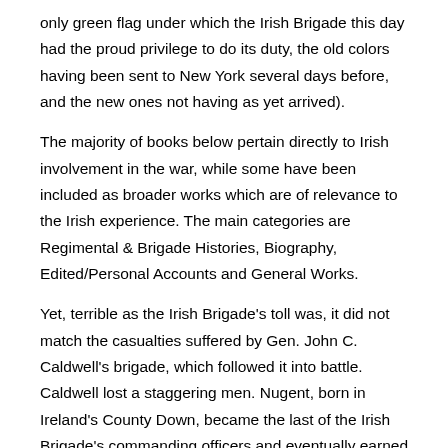only green flag under which the Irish Brigade this day had the proud privilege to do its duty, the old colors having been sent to New York several days before, and the new ones not having as yet arrived).
The majority of books below pertain directly to Irish involvement in the war, while some have been included as broader works which are of relevance to the Irish experience. The main categories are Regimental & Brigade Histories, Biography, Edited/Personal Accounts and General Works.
Yet, terrible as the Irish Brigade's toll was, it did not match the casualties suffered by Gen. John C. Caldwell's brigade, which followed it into battle. Caldwell lost a staggering men. Nugent, born in Ireland's County Down, became the last of the Irish Brigade's commanding officers and eventually earned the rank of brigadier general in the waning days of the war.
The Irish Brigade owes its origin to the arrival in France of five Regiments of Infantry, under the command of Lord Mountcashel, Lord Clare, The Honourable Arthur Dillon, Col. Butler, and Col.